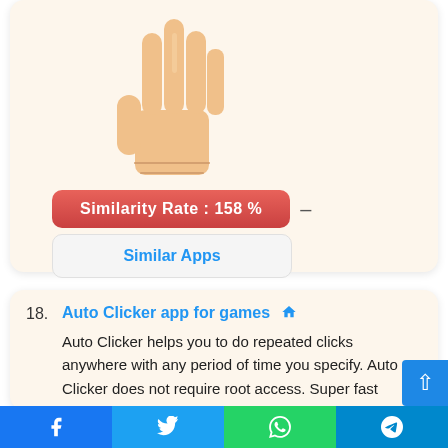[Figure (illustration): A raised hand / stop hand gesture illustration in peach/skin tone colors]
Similarity Rate : 158 %
Similar Apps
18. Auto Clicker app for games
Auto Clicker helps you to do repeated clicks anywhere with any period of time you specify. Auto Clicker does not require root access. Super fast automatic clicker. Download Auto Clicker to